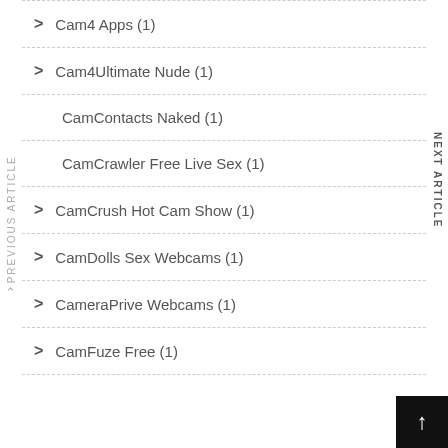Cam4 Apps (1)
Cam4Ultimate Nude (1)
CamContacts Naked (1)
CamCrawler Free Live Sex (1)
CamCrush Hot Cam Show (1)
CamDolls Sex Webcams (1)
CameraPrive Webcams (1)
CamFuze Free (1)